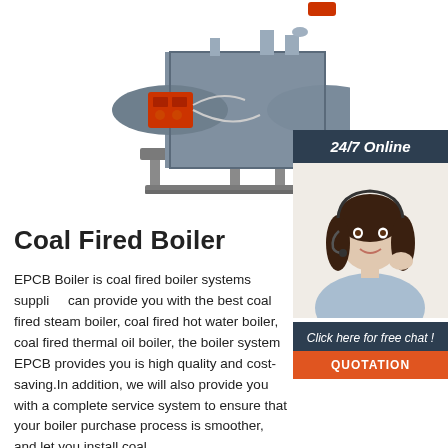[Figure (photo): Industrial coal fired boiler unit, horizontal cylindrical shape, grey color with red burner component and piping, mounted on a steel frame stand]
[Figure (photo): 24/7 Online customer service sidebar: dark blue-grey header with '24/7 Online' text, photo of smiling woman with headset, 'Click here for free chat!' text, orange QUOTATION button]
Coal Fired Boiler
EPCB Boiler is coal fired boiler systems supplier, can provide you with the best coal fired steam boiler, coal fired hot water boiler, coal fired thermal oil boiler, the boiler system EPCB provides you is high quality and cost-saving.In addition, we will also provide you with a complete service system to ensure that your boiler purchase process is smoother, and let you install coal …